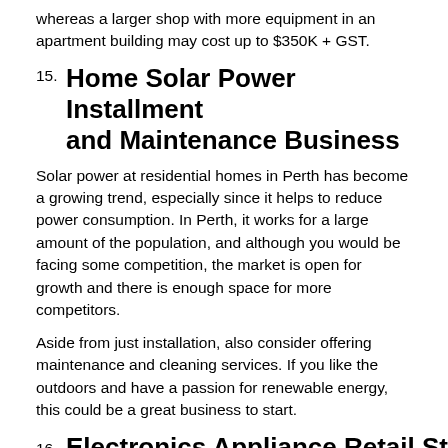whereas a larger shop with more equipment in an apartment building may cost up to $350K + GST.
15. Home Solar Power Installment and Maintenance Business
Solar power at residential homes in Perth has become a growing trend, especially since it helps to reduce power consumption. In Perth, it works for a large amount of the population, and although you would be facing some competition, the market is open for growth and there is enough space for more competitors.
Aside from just installation, also consider offering maintenance and cleaning services. If you like the outdoors and have a passion for renewable energy, this could be a great business to start.
16. Electronics Appliance Retail Store
This generation and coming ones are very eager to invest in electronics and appliances more than their older generation. This growing demand leaves room for any willing